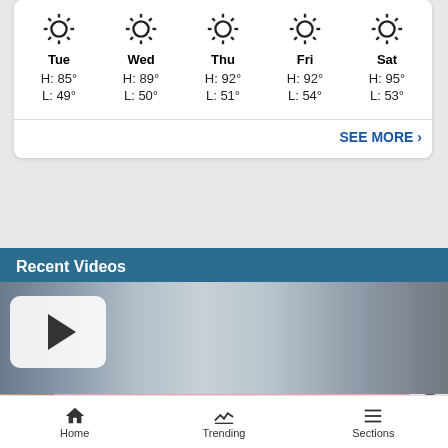[Figure (other): 5-day weather forecast widget showing sun icons and high/low temperatures for Tue, Wed, Thu, Fri, Sat]
Tue H: 85° L: 49°
Wed H: 89° L: 50°
Thu H: 92° L: 51°
Fri H: 92° L: 54°
Sat H: 95° L: 53°
SEE MORE ›
Recent Videos
[Figure (screenshot): Video thumbnail showing a silver car with a play button overlay in the top left]
[Figure (screenshot): Victoria's Secret advertisement banner with model, VS logo, SHOP THE COLLECTION text, and SHOP NOW button]
Home   Trending   Sections